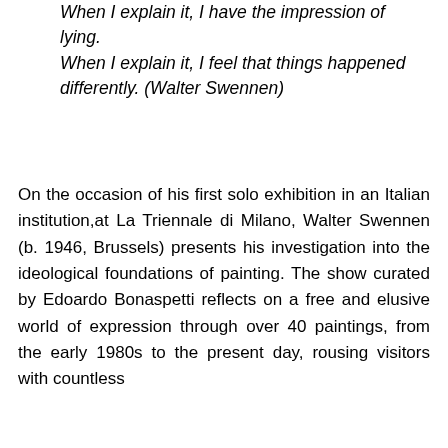When I explain it, I have the impression of lying. When I explain it, I feel that things happened differently. (Walter Swennen)
On the occasion of his first solo exhibition in an Italian institution,at La Triennale di Milano, Walter Swennen (b. 1946, Brussels) presents his investigation into the ideological foundations of painting. The show curated by Edoardo Bonaspetti reflects on a free and elusive world of expression through over 40 paintings, from the early 1980s to the present day, rousing visitors with countless